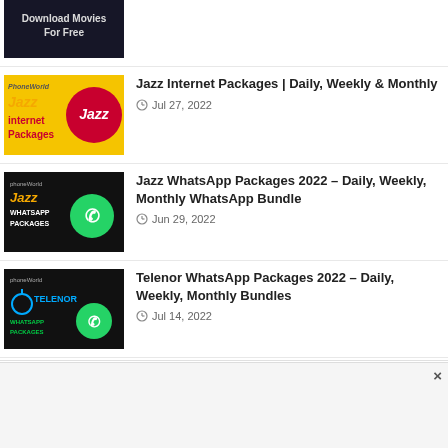[Figure (screenshot): Partially visible thumbnail at top showing 'Download Movies For Free' text]
[Figure (screenshot): Jazz Internet Packages thumbnail with yellow Jazz logo and red Jazz circle logo on black/yellow background]
Jazz Internet Packages | Daily, Weekly & Monthly
Jul 27, 2022
[Figure (screenshot): Jazz WhatsApp Packages thumbnail with Jazz logo, WhatsApp logo on black background]
Jazz WhatsApp Packages 2022 – Daily, Weekly, Monthly WhatsApp Bundle
Jun 29, 2022
[Figure (screenshot): Telenor WhatsApp Packages thumbnail with Telenor logo and WhatsApp logo on black background]
Telenor WhatsApp Packages 2022 – Daily, Weekly, Monthly Bundles
Jul 14, 2022